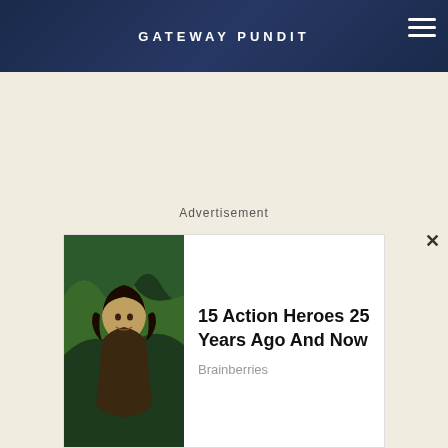GATEWAY PUNDIT
[Figure (illustration): Illustration of a person in a squat/lunge position wearing blue shirt and dark shorts with black sneakers, with a green downward arrow indicating direction of movement. Background is light beige/cream.]
Advertisement
[Figure (photo): Advertisement card with photo of a dark-haired woman in warrior/action costume in jungle setting, with text '15 Action Heroes 25 Years Ago And Now' and source 'Brainberries']